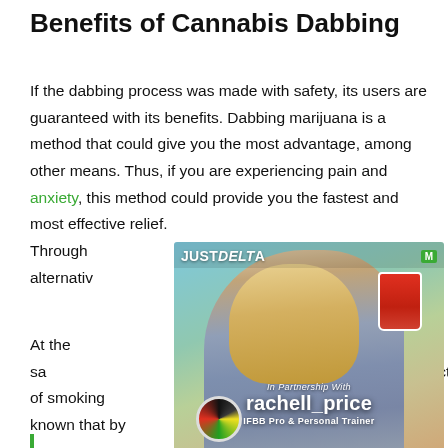Benefits of Cannabis Dabbing
If the dabbing process was made with safety, its users are guaranteed with its benefits. Dabbing marijuana is a method that could give you the most advantage, among other means. Thus, if you are experiencing pain and anxiety, this method could provide you the fastest and most effective relief. Through [ad overlay] an alternative [ad overlay]
[Figure (photo): Advertisement overlay from JustDelta featuring influencer rachell_price (IFBB Pro & Personal Trainer) drinking from a red cup, holding a product, with a Christmas tree in background. Partnership ad with M badge.]
At the sa[me time, reducing the harmful im]pacts of smoking [cannabis. It is also ]s known that by u[sing the dabbing method, it ]t produces [a cleaner vapor. With this ]method, the bene[fits are maximized while ]e eliminati[ng the harmful elements]